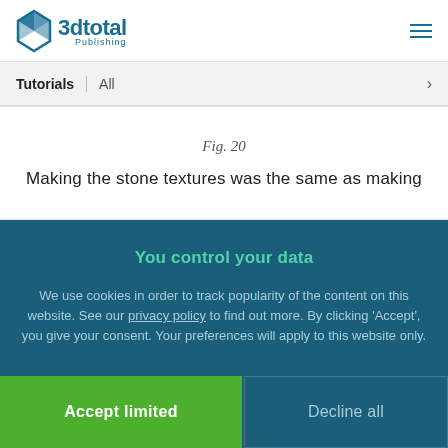3dtotal Publishing
Tutorials | All
Fig. 20
Making the stone textures was the same as making
You control your data
We use cookies in order to track popularity of the content on this website. See our privacy policy to find out more. By clicking 'Accept', you give your consent. Your preferences will apply to this website only.
Accept limited
Decline all